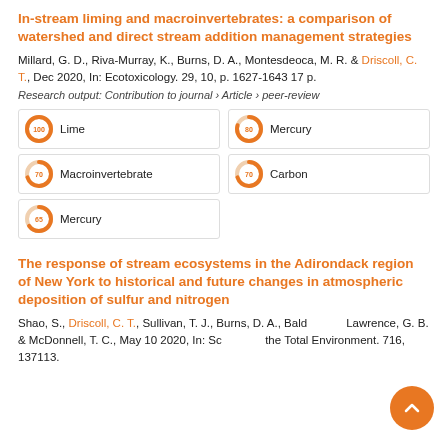In-stream liming and macroinvertebrates: a comparison of watershed and direct stream addition management strategies
Millard, G. D., Riva-Murray, K., Burns, D. A., Montesdeoca, M. R. & Driscoll, C. T., Dec 2020, In: Ecotoxicology. 29, 10, p. 1627-1643 17 p.
Research output: Contribution to journal › Article › peer-review
[Figure (infographic): Five keyword badges with donut-style percentage icons: Lime (100%), Mercury (80%), Macroinvertebrate (70%), Carbon (70%), Mercury (65%)]
The response of stream ecosystems in the Adirondack region of New York to historical and future changes in atmospheric deposition of sulfur and nitrogen
Shao, S., Driscoll, C. T., Sullivan, T. J., Burns, D. A., Baldigo, B., Lawrence, G. B. & McDonnell, T. C., May 10 2020, In: Science of the Total Environment. 716, 137113.